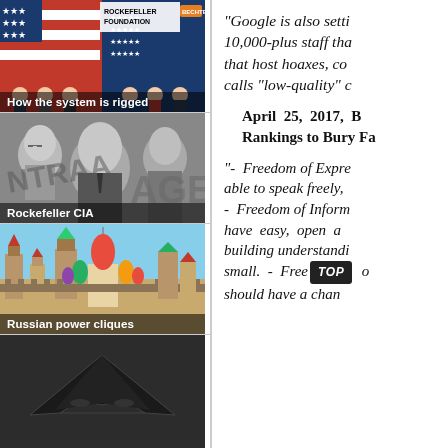[Figure (photo): Collage image showing Rockefeller Foundation and Bechtel logos with illustrated figures and flags; caption 'How the system is rigged']
[Figure (photo): Black and white photo of three men, labeled 'Rockefeller CIA']
[Figure (photo): Photo of Moscow Red Square/Kremlin and Saint Basil's Cathedral; caption 'Russian power cliques']
[Figure (photo): Partial photo of a dark aircraft (stealth aircraft), partially visible at bottom]
"Google is also setti 10,000-plus staff tha that host hoaxes, co calls "low-quality" c
April 25, 2017, B Rankings to Bury Fa
"-  Freedom of Expre able to speak freely, -  Freedom of Inform have easy, open a building understandi small.  -  Freedom o should have a chan